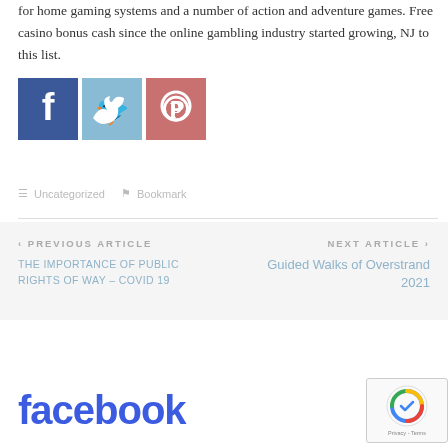for home gaming systems and a number of action and adventure games. Free casino bonus cash since the online gambling industry started growing, NJ to this list.
[Figure (other): Social media share buttons: Facebook (blue), Twitter (light blue), Pinterest (red/pink)]
Uncategorized   Bookmark
< PREVIOUS ARTICLE
THE IMPORTANCE OF PUBLIC RIGHTS OF WAY – COVID 19
NEXT ARTICLE >
Guided Walks of Overstrand 2021
facebook
[Figure (other): reCAPTCHA badge with logo and Privacy - Terms text]